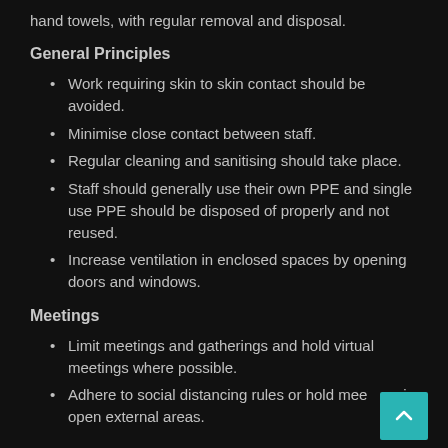hand towels, with regular removal and disposal.
General Principles
Work requiring skin to skin contact should be avoided.
Minimise close contact between staff.
Regular cleaning and sanitising should take place.
Staff should generally use their own PPE and single use PPE should be disposed of properly and not reused.
Increase ventilation in enclosed spaces by opening doors and windows.
Meetings
Limit meetings and gatherings and hold virtual meetings where possible.
Adhere to social distancing rules or hold meetings in open external areas.